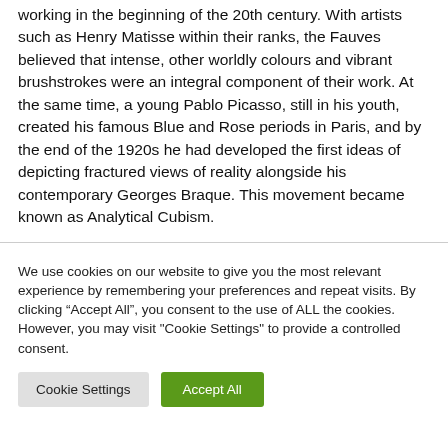working in the beginning of the 20th century. With artists such as Henry Matisse within their ranks, the Fauves believed that intense, other worldly colours and vibrant brushstrokes were an integral component of their work. At the same time, a young Pablo Picasso, still in his youth, created his famous Blue and Rose periods in Paris, and by the end of the 1920s he had developed the first ideas of depicting fractured views of reality alongside his contemporary Georges Braque. This movement became known as Analytical Cubism.
We use cookies on our website to give you the most relevant experience by remembering your preferences and repeat visits. By clicking “Accept All”, you consent to the use of ALL the cookies. However, you may visit "Cookie Settings" to provide a controlled consent.